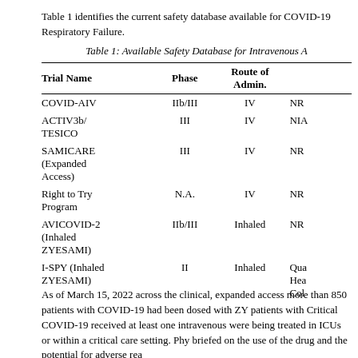Table 1 identifies the current safety database available for COVID-19 Respiratory Failure.
Table 1: Available Safety Database for Intravenous A...
| Trial Name | Phase | Route of Admin. |  |
| --- | --- | --- | --- |
| COVID-AIV | IIb/III | IV | NR... |
| ACTIV3b/ TESICO | III | IV | NIA... |
| SAMICARE (Expanded Access) | III | IV | NR... |
| Right to Try Program | N.A. | IV | NR... |
| AVICOVID-2 (Inhaled ZYESAMI) | IIb/III | Inhaled | NR... |
| I-SPY (Inhaled ZYESAMI) | II | Inhaled | Qua... Hea... Col... |
As of March 15, 2022 across the clinical, expanded access more than 850 patients with COVID-19 had been dosed with ZY... patients with Critical COVID-19 received at least one intravenous... were being treated in ICUs or within a critical care setting. Physicians... briefed on the use of the drug and the potential for adverse rea...